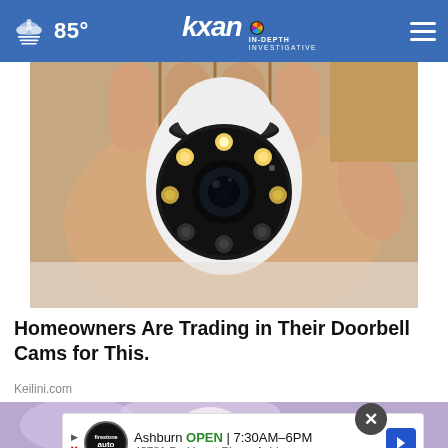85° | KXAN IN-DEPTH INVESTIGATIVE
[Figure (photo): A hand holding a small white bullet-style security camera with multiple LED lights arranged around a central lens on the front face]
Homeowners Are Trading in Their Doorbell Cams for This.
Keilini.com
[Figure (photo): Advertisement area showing Firestone Auto Care: Ashburn OPEN 7:30AM-6PM, 43781 Parkhurst Plaza, Ashburn]